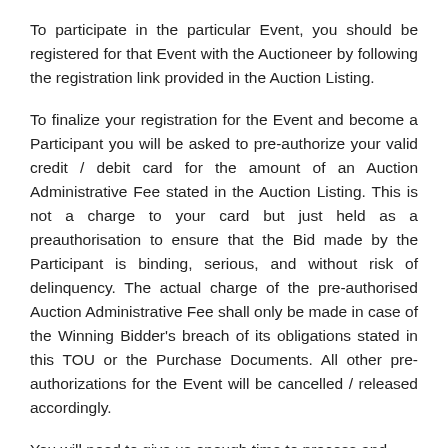To participate in the particular Event, you should be registered for that Event with the Auctioneer by following the registration link provided in the Auction Listing.
To finalize your registration for the Event and become a Participant you will be asked to pre-authorize your valid credit / debit card for the amount of an Auction Administrative Fee stated in the Auction Listing. This is not a charge to your card but just held as a preauthorisation to ensure that the Bid made by the Participant is binding, serious, and without risk of delinquency. The actual charge of the pre-authorised Auction Administrative Fee shall only be made in case of the Winning Bidder's breach of its obligations stated in this TOU or the Purchase Documents. All other pre-authorizations for the Event will be cancelled / released accordingly.
You will need to give us enough time to process and